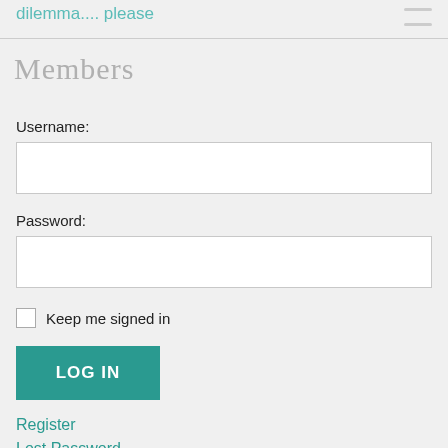dilemma.... please
Members
Username:
Password:
Keep me signed in
LOG IN
Register
Lost Password
Archives